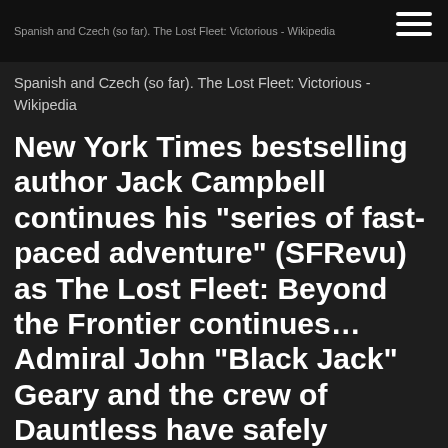Spanish and Czech (so far). The Lost Fleet: Victorious - Wikipedia
New York Times bestselling author Jack Campbell continues his "series of fast-paced adventure" (SFRevu) as The Lost Fleet: Beyond the Frontier continues… Admiral John "Black Jack" Geary and the crew of Dauntless have safely escorted important alien representatives to Earth. But before they ca…